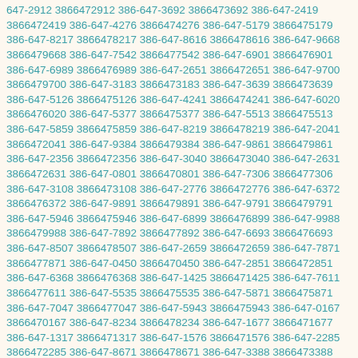647-2912 3866472912 386-647-3692 3866473692 386-647-2419 3866472419 386-647-4276 3866474276 386-647-5179 3866475179 386-647-8217 3866478217 386-647-8616 3866478616 386-647-9668 3866479668 386-647-7542 3866477542 386-647-6901 3866476901 386-647-6989 3866476989 386-647-2651 3866472651 386-647-9700 3866479700 386-647-3183 3866473183 386-647-3639 3866473639 386-647-5126 3866475126 386-647-4241 3866474241 386-647-6020 3866476020 386-647-5377 3866475377 386-647-5513 3866475513 386-647-5859 3866475859 386-647-8219 3866478219 386-647-2041 3866472041 386-647-9384 3866479384 386-647-9861 3866479861 386-647-2356 3866472356 386-647-3040 3866473040 386-647-2631 3866472631 386-647-0801 3866470801 386-647-7306 3866477306 386-647-3108 3866473108 386-647-2776 3866472776 386-647-6372 3866476372 386-647-9891 3866479891 386-647-9791 3866479791 386-647-5946 3866475946 386-647-6899 3866476899 386-647-9988 3866479988 386-647-7892 3866477892 386-647-6693 3866476693 386-647-8507 3866478507 386-647-2659 3866472659 386-647-7871 3866477871 386-647-0450 3866470450 386-647-2851 3866472851 386-647-6368 3866476368 386-647-1425 3866471425 386-647-7611 3866477611 386-647-5535 3866475535 386-647-5871 3866475871 386-647-7047 3866477047 386-647-5943 3866475943 386-647-0167 3866470167 386-647-8234 3866478234 386-647-1677 3866471677 386-647-1317 3866471317 386-647-1576 3866471576 386-647-2285 3866472285 386-647-8671 3866478671 386-647-3388 3866473388 386-647-9011 3866479011 386-647-6237 3866476237 386-647-8489 3866478489 386-647-4893 3866474893 386-647-3301 3866473301 386-647-4789 3866474789 386-647-9592 3866479592 386-647-9835